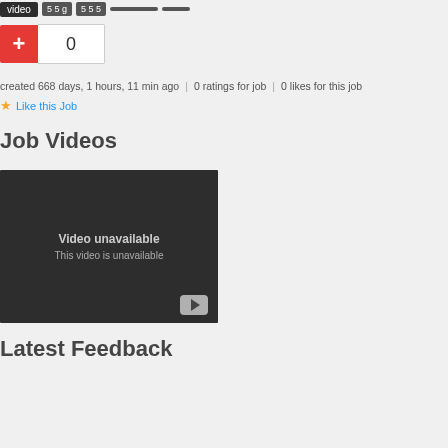[Figure (screenshot): Top navigation bar with tags including 'video' and other gray pill tags]
[Figure (screenshot): Red plus button with count box showing 0]
created 668 days, 1 hours, 11 min ago | 0 ratings for job | 0 likes for this job
⭐ Like this Job
Job Videos
[Figure (screenshot): Embedded video player showing 'Video unavailable' and 'This video is unavailable' with a play button]
Latest Feedback